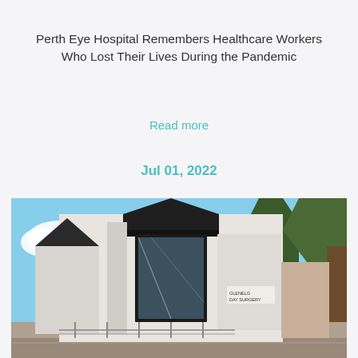Perth Eye Hospital Remembers Healthcare Workers Who Lost Their Lives During the Pandemic
Read more
Jul 01, 2022
[Figure (photo): Exterior photo of Glenelg Day Surgery building, a modern white and dark-framed structure with large glass windows, surrounded by pine trees under a blue sky.]